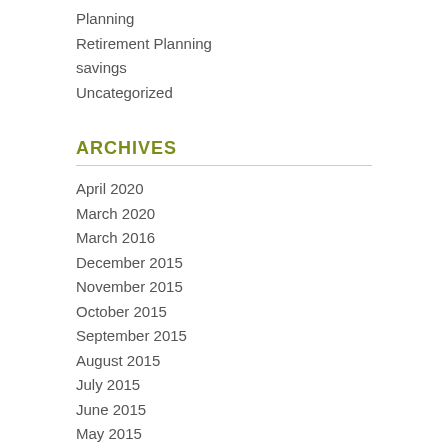Planning
Retirement Planning
savings
Uncategorized
ARCHIVES
April 2020
March 2020
March 2016
December 2015
November 2015
October 2015
September 2015
August 2015
July 2015
June 2015
May 2015
April 2015
March 2015